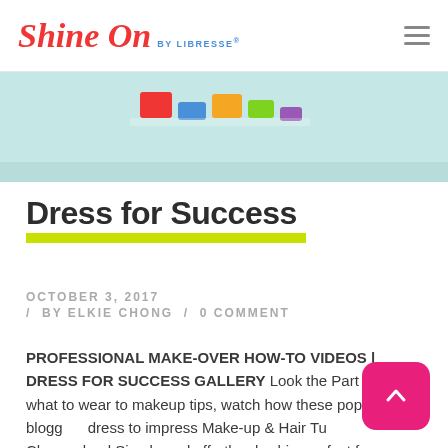Shine On BY LIBRESSE®
[Figure (photo): Hero image with colorful rectangular blocks on a light teal/mint background]
Dress for Success
OCTOBER 3, 2017 / BY ELKIE CHONG / 0 COMMENT
PROFESSIONAL MAKE-OVER HOW-TO VIDEOS | DRESS FOR SUCCESS GALLERY Look the Part From what to wear to makeup tips, watch how these popular bloggers dress to impress Make-up & Hair Tutorials by Cheeserland Simple and effortlessly chic, perfect for your first job interview! Watched all the videos? Head on to the Gallery to see